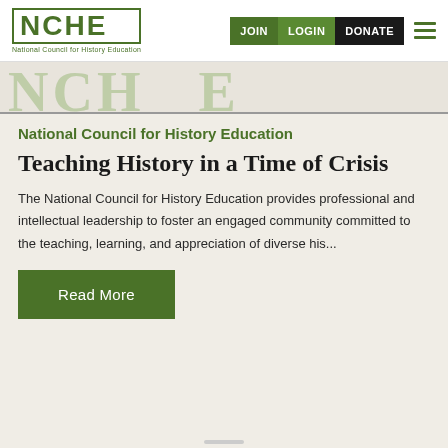NCHE - National Council for History Education | JOIN | LOGIN | DONATE
[Figure (other): Large watermark/background text showing partial NCHE branding letters in light green]
National Council for History Education
Teaching History in a Time of Crisis
The National Council for History Education provides professional and intellectual leadership to foster an engaged community committed to the teaching, learning, and appreciation of diverse his...
Read More